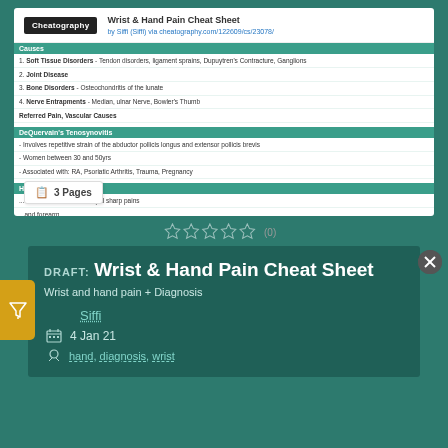[Figure (screenshot): Preview of Wrist & Hand Pain Cheat Sheet from Cheatography showing causes table and DeQuervain's Tenosynovitis section]
☆☆☆☆☆ (0)
DRAFT: Wrist & Hand Pain Cheat Sheet
Wrist and hand pain + Diagnosis
Siffi
4 Jan 21
hand, diagnosis, wrist